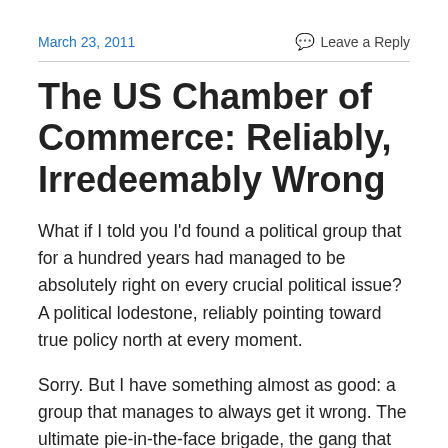March 23, 2011
Leave a Reply
The US Chamber of Commerce: Reliably, Irredeemably Wrong
What if I told you I'd found a political group that for a hundred years had managed to be absolutely right on every crucial political issue? A political lodestone, reliably pointing toward true policy north at every moment.
Sorry. But I have something almost as good: a group that manages to always get it wrong. The ultimate pie-in-the-face brigade, the gang that couldn't lobby straight.